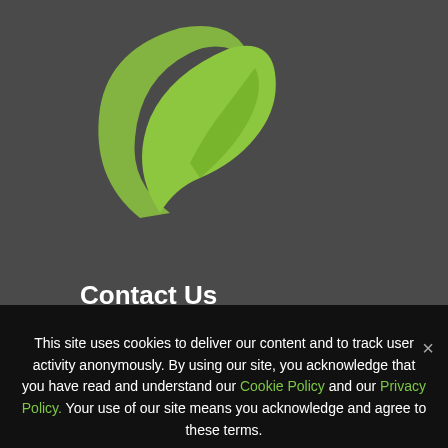[Figure (logo): Green leaf logo on dark gray background — two overlapping curved leaf shapes in lime green forming a circular/swirl design]
Contact Us
734.425.7414
info@ThePartnerMarketingGroup.com
Privacy Policy
This site uses cookies to deliver our content and to track user activity anonymously. By using our site, you acknowledge that you have read and understand our Cookie Policy and our Privacy Policy. Your use of our site means you acknowledge and agree to these terms.
AGREE